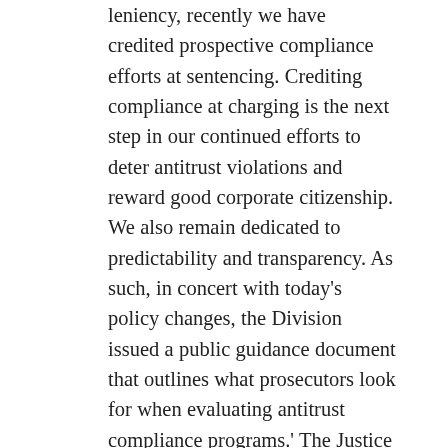leniency, recently we have credited prospective compliance efforts at sentencing. Crediting compliance at charging is the next step in our continued efforts to deter antitrust violations and reward good corporate citizenship. We also remain dedicated to predictability and transparency. As such, in concert with today's policy changes, the Division issued a public guidance document that outlines what prosecutors look for when evaluating antitrust compliance programs.' The Justice Manual previously explained the Antitrust Division's policy that credit should not be given at the charging stage for a compliance program. That text has been deleted. The Division also updated its Manual. The revisions address evaluating compliance programs at the charging and sentencing stage, and Division processes for recommending indictments, plea agreements, and selecting monitors. For the first time, the Division also published a guidance document that focuses on selecting compliance...